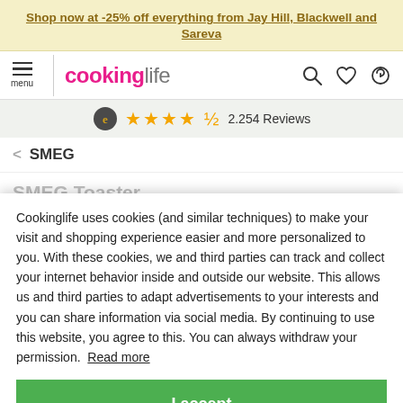Shop now at -25% off everything from Jay Hill, Blackwell and Sareva
[Figure (screenshot): Cookinglife website header with hamburger menu, logo, search, wishlist and support icons]
★★★★½ 2.254 Reviews
< SMEG
SMEG Toaster
Cookinglife uses cookies (and similar techniques) to make your visit and shopping experience easier and more personalized to you. With these cookies, we and third parties can track and collect your internet behavior inside and outside our website. This allows us and third parties to adapt advertisements to your interests and you can share information via social media. By continuing to use this website, you agree to this. You can always withdraw your permission. Read more
I accept
[Figure (photo): Product images at bottom of page showing SMEG toaster in white and black]